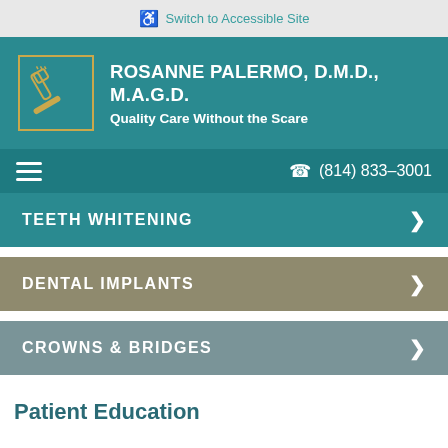Switch to Accessible Site
ROSANNE PALERMO, D.M.D., M.A.G.D.
Quality Care Without the Scare
(814) 833-3001
TEETH WHITENING
DENTAL IMPLANTS
CROWNS & BRIDGES
Patient Education